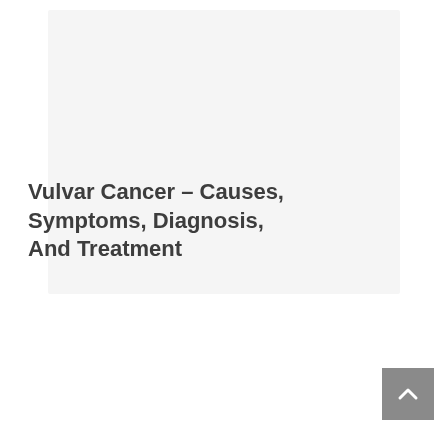Vulvar Cancer – Causes, Symptoms, Diagnosis, And Treatment